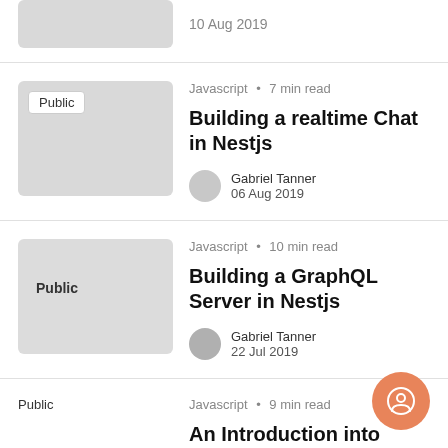10 Aug 2019
Javascript · 7 min read
Building a realtime Chat in Nestjs
Gabriel Tanner
06 Aug 2019
Javascript · 10 min read
Building a GraphQL Server in Nestjs
Gabriel Tanner
22 Jul 2019
Javascript · 9 min read
An Introduction into